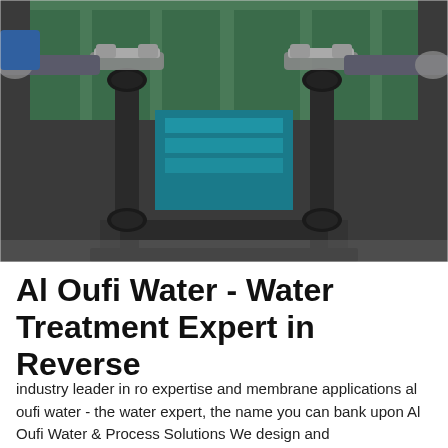[Figure (photo): Close-up photo of industrial water treatment equipment showing dark pipes, connectors, clamps, and a teal/blue pump or filter unit mounted on a frame, with metallic fittings and pipe unions visible on top.]
Al Oufi Water - Water Treatment Expert in Reverse
industry leader in ro expertise and membrane applications al oufi water - the water expert, the name you can bank upon Al Oufi Water & Process Solutions We design and